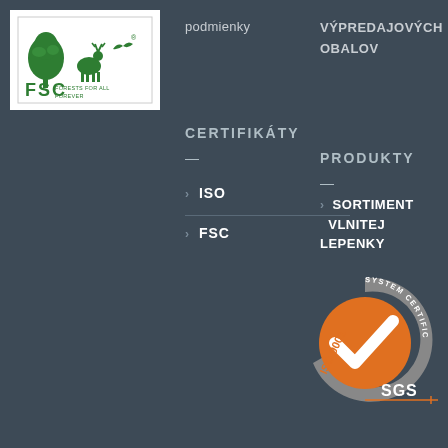[Figure (logo): FSC Forests For All Forever logo - green tree and animals with FSC text]
podmienky
VÝPREDAJOVÝCH OBALOV
CERTIFIKÁTY
—
PRODUKTY
—
ISO
FSC
SORTIMENT VLNITEJ LEPENKY
[Figure (logo): SGS ISO 9001 System Certification badge - orange circle with white checkmark, grey arc, orange ISO 9001 text, SGS text]